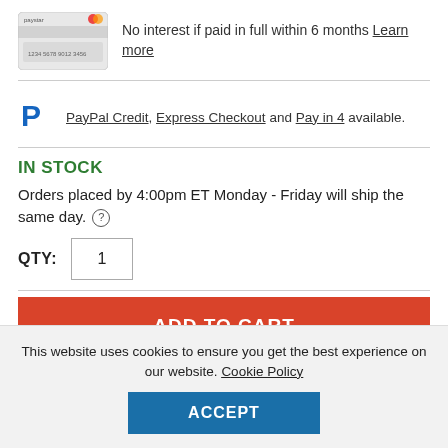[Figure (illustration): Credit card image (payment card graphic)]
No interest if paid in full within 6 months Learn more
PayPal Credit, Express Checkout and Pay in 4 available.
IN STOCK
Orders placed by 4:00pm ET Monday - Friday will ship the same day. (?)
QTY: 1
ADD TO CART
This website uses cookies to ensure you get the best experience on our website. Cookie Policy
ACCEPT